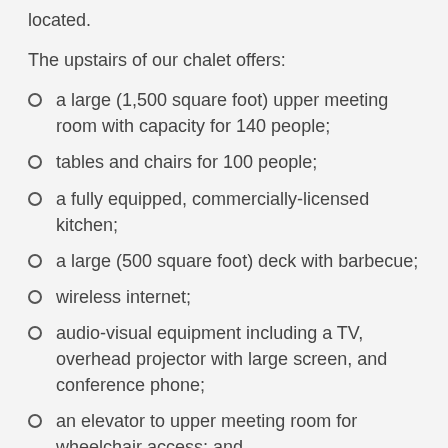located.
The upstairs of our chalet offers:
a large (1,500 square foot) upper meeting room with capacity for 140 people;
tables and chairs for 100 people;
a fully equipped, commercially-licensed kitchen;
a large (500 square foot) deck with barbecue;
wireless internet;
audio-visual equipment including a TV, overhead projector with large screen, and conference phone;
an elevator to upper meeting room for wheelchair access; and
ample parking.